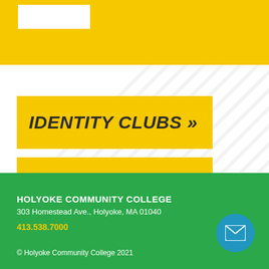[Figure (logo): White rectangle logo placeholder on yellow banner]
[Figure (illustration): Diagonal white stripe pattern background]
IDENTITY CLUBS »
INTEREST CLUBS »
HOLYOKE COMMUNITY COLLEGE
303 Homestead Ave., Holyoke, MA 01040
413.538.7000
© Holyoke Community College 2021